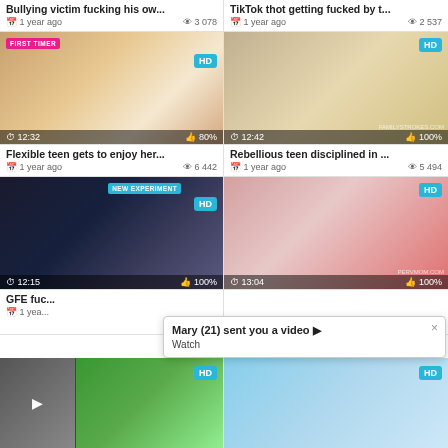[Figure (screenshot): Video thumbnail grid - adult content website UI showing video cards with thumbnails, titles, view counts and upload dates]
Bullying victim fucking his ow...
1 year ago   3 078
TikTok thot getting fucked by t...
1 year ago   2 537
Flexible teen gets to enjoy her...
1 year ago   6 442
Rebellious teen disciplined in ...
1 year ago   5 494
GFE fuc...
1 year...
Mary (21) sent you a video ▶
Watch